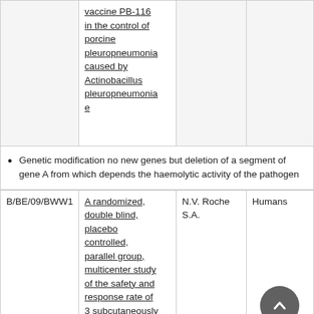|  |  |  |  |
| --- | --- | --- | --- |
|  | vaccine PB-116 in the control of porcine pleuropneumonia caused by Actinobacillus pleuropneumoniae |  |  |
Genetic modification no new genes but deletion of a segment of gene A from which depends the haemolytic activity of the pathogen
|  |  |  |  |
| --- | --- | --- | --- |
| B/BE/09/BWW1 | A randomized, double blind, placebo controlled, parallel group, multicenter study of the safety and response rate of 3 subcutaneously administered | N.V. Roche S.A. | Humans |